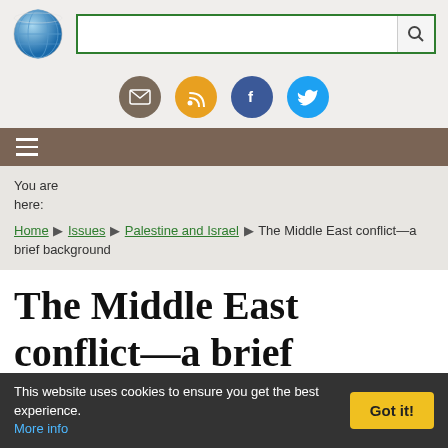[Figure (screenshot): Website header with globe logo, search bar with green border, and social media icons (email, RSS, Facebook, Twitter)]
[Figure (screenshot): Brown navigation bar with hamburger menu icon]
You are here: Home ▶ Issues ▶ Palestine and Israel ▶ The Middle East conflict—a brief background
The Middle East conflict—a brief background
by Anup Shah
This page last updated Sunday, July 30, 2006
This website uses cookies to ensure you get the best experience. More info